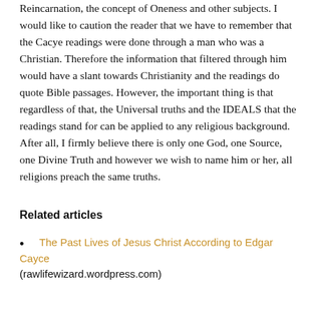Reincarnation, the concept of Oneness and other subjects. I would like to caution the reader that we have to remember that the Cacye readings were done through a man who was a Christian. Therefore the information that filtered through him would have a slant towards Christianity and the readings do quote Bible passages. However, the important thing is that regardless of that, the Universal truths and the IDEALS that the readings stand for can be applied to any religious background. After all, I firmly believe there is only one God, one Source, one Divine Truth and however we wish to name him or her, all religions preach the same truths.
Related articles
The Past Lives of Jesus Christ According to Edgar Cayce (rawlifewizard.wordpress.com)